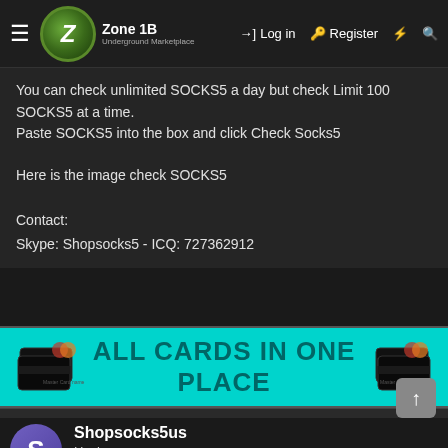Zone 1B | Log in | Register
You can check unlimited SOCKS5 a day but check Limit 100 SOCKS5 at a time.
Paste SOCKS5 into the box and click Check Socks5
Here is the image check SOCKS5
Contact:
Skype: Shopsocks5 - ICQ: 727362912
[Figure (infographic): Cyan banner reading ALL CARDS IN ONE PLACE with credit card icons on both sides]
Shopsocks5us
Hacker